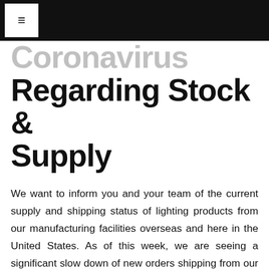≡
Coronavirus Regarding Stock & Supply
We want to inform you and your team of the current supply and shipping status of lighting products from our manufacturing facilities overseas and here in the United States. As of this week, we are seeing a significant slow down of new orders shipping from our overseas manufactures, which as of now, are resulting in approximately a 30-90 day delay over the standard 90 day lead time.